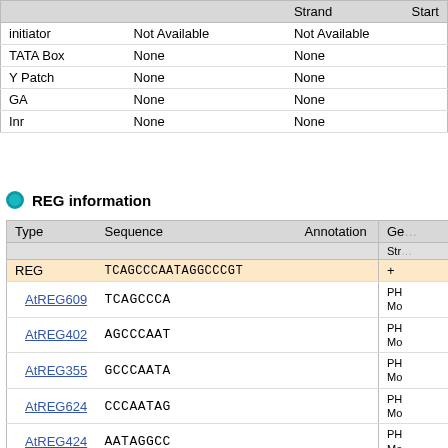|  |  | Strand | Start |
| --- | --- | --- | --- |
| initiator | Not Available | Not Available |  |
| TATA Box | None | None |  |
| Y Patch | None | None |  |
| GA | None | None |  |
| Inr | None | None |  |
REG information
| Type | Sequence | Annotation | Ge... |
| --- | --- | --- | --- |
| REG | TCAGCCCAATAGGCCCGT |  | + |
| AtREG609 | TCAGCCCA |  | PH... Mo... |
| AtREG402 | AGCCCAAT |  | PH... Mo... |
| AtREG355 | GCCCAATA |  | PH... Mo... |
| AtREG624 | CCCAATAG |  | PH... Mo... |
| AtREG424 | AATAGGCC |  | PH... Mo... |
| AtREG362 | ATAGGCCC |  | PH... Mo... |
| AtREG429 | AGGCCCGT |  | PH... Mo... |